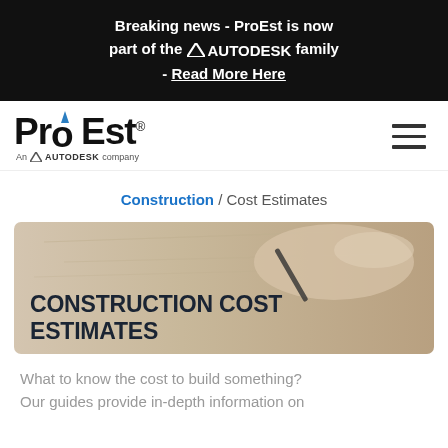Breaking news - ProEst is now part of the AUTODESK family - Read More Here
[Figure (logo): ProEst logo - An AUTODESK company, with hamburger menu icon]
Construction / Cost Estimates
[Figure (photo): Hero image showing hands drawing construction plans with a pencil, overlaid with text CONSTRUCTION COST ESTIMATES]
What to know the cost to build something? Our guides provide in-depth information on